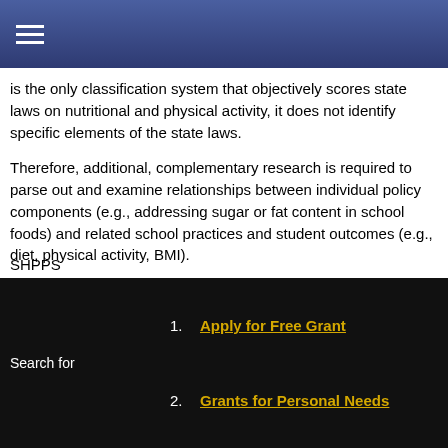≡
is the only classification system that objectively scores state laws on nutritional and physical activity, it does not identify specific elements of the state laws.
Therefore, additional, complementary research is required to parse out and examine relationships between individual policy components (e.g., addressing sugar or fat content in school foods) and related school practices and student outcomes (e.g., diet, physical activity, BMI).
3.
School Health Policies and Practices Study
The Centers for Disease Control and Prevention s School Health Policies and Practices Study (SHPPS) is a national, comprehensive survey conducted to assess school wellness at the state-, district-, school-, and classroom-levels.
SHPPS
1. Apply for Free Grant
2. Grants for Personal Needs
Search for